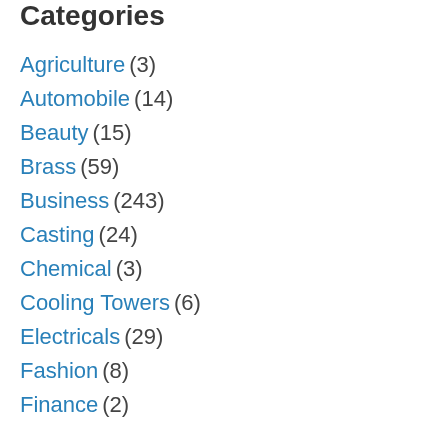Categories
Agriculture (3)
Automobile (14)
Beauty (15)
Brass (59)
Business (243)
Casting (24)
Chemical (3)
Cooling Towers (6)
Electricals (29)
Fashion (8)
Finance (2)